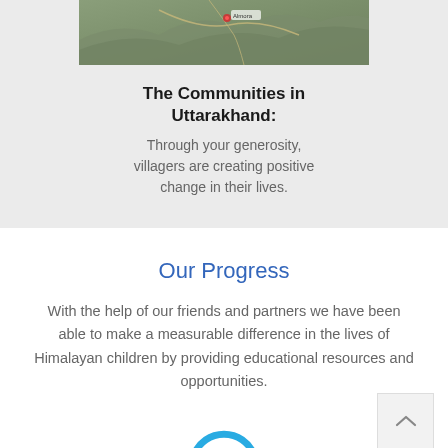[Figure (map): Partial aerial/satellite map image of Uttarakhand region, showing terrain with topographic features]
The Communities in Uttarakhand:
Through your generosity, villagers are creating positive change in their lives.
Our Progress
With the help of our friends and partners we have been able to make a measurable difference in the lives of Himalayan children by providing educational resources and opportunities.
[Figure (other): Partial circular arc icon at bottom of page, in blue, likely a progress or navigation element]